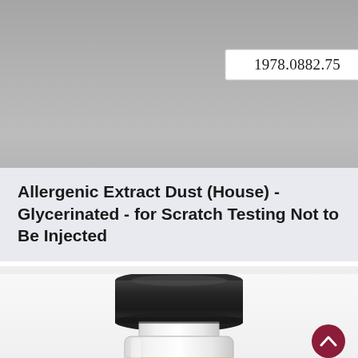[Figure (photo): Top portion of a glass medical vial with black metal cap, showing a white label tag reading '1978.0882.75', photographed on a gray background]
Allergenic Extract Dust (House) - Glycerinated - for Scratch Testing Not to Be Injected
[Figure (photo): Close-up of the top and upper body of a glass medical vial with dark metal crimped cap, showing a partial tan/yellow label at the bottom edge of the frame, on a white background]